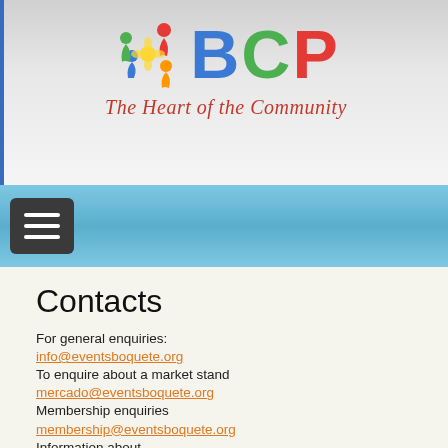[Figure (logo): BCP logo with colorful people figures icon and text 'BCP The Heart of the Community']
[Figure (other): Navigation bar with hamburger menu button]
Contacts
For general enquiries:
info@eventsboquete.org
To enquire about a market stand
mercado@eventsboquete.org
Membership enquiries
membership@eventsboquete.org
Information about
Community Chats
chats@eventsboquete.org